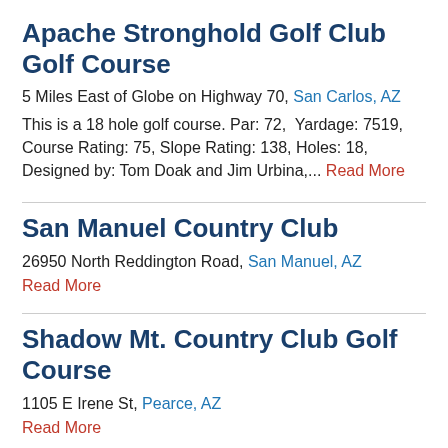Apache Stronghold Golf Club Golf Course
5 Miles East of Globe on Highway 70, San Carlos, AZ
This is a 18 hole golf course. Par: 72, Yardage: 7519, Course Rating: 75, Slope Rating: 138, Holes: 18, Designed by: Tom Doak and Jim Urbina,... Read More
San Manuel Country Club
26950 North Reddington Road, San Manuel, AZ
Read More
Shadow Mt. Country Club Golf Course
1105 E Irene St, Pearce, AZ
Read More